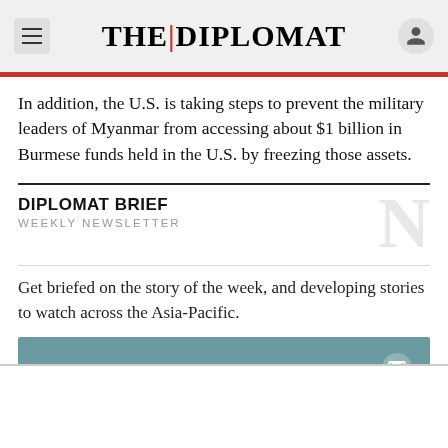THE DIPLOMAT
In addition, the U.S. is taking steps to prevent the military leaders of Myanmar from accessing about $1 billion in Burmese funds held in the U.S. by freezing those assets.
DIPLOMAT BRIEF WEEKLY NEWSLETTER
Get briefed on the story of the week, and developing stories to watch across the Asia-Pacific.
GET THE NEWSLETTER